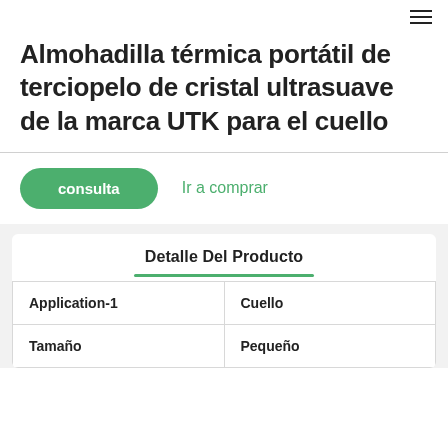≡
Almohadilla térmica portátil de terciopelo de cristal ultrasuave de la marca UTK para el cuello
consulta   Ir a comprar
Detalle Del Producto
| Application-1 | Cuello |
| Tamaño | Pequeño |